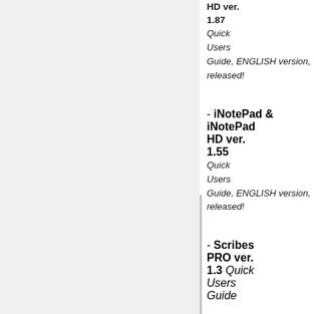HD ver. 1.87 Quick Users Guide, ENGLISH version, released!
- iNotePad & iNotePad HD ver. 1.55 Quick Users Guide, ENGLISH version, released!
- Scribes PRO ver. 1.3 Quick Users Guide,